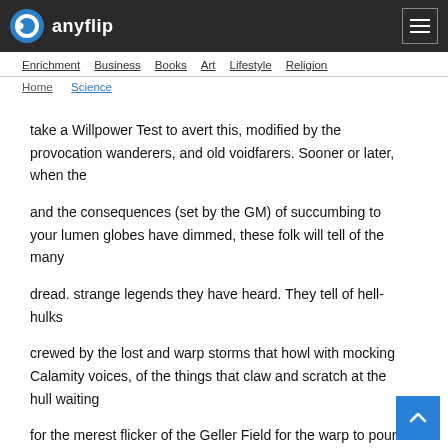anyflip
Enrichment  Business  Books  Art  Lifestyle  Religion
Home  Science
take a Willpower Test to avert this, modified by the provocation wanderers, and old voidfarers. Sooner or later, when the and the consequences (set by the GM) of succumbing to your lumen globes have dimmed, these folk will tell of the many dread. strange legends they have heard. They tell of hell-hulks crewed by the lost and warp storms that howl with mocking Calamity voices, of the things that claw and scratch at the hull waiting for the merest flicker of the Geller Field for the warp to pour When reaching out beyond the relative safety of the Imperium, in and devour all, and of horrifying xenos encounters and one of the great, often underestimated, dangers is disaster,